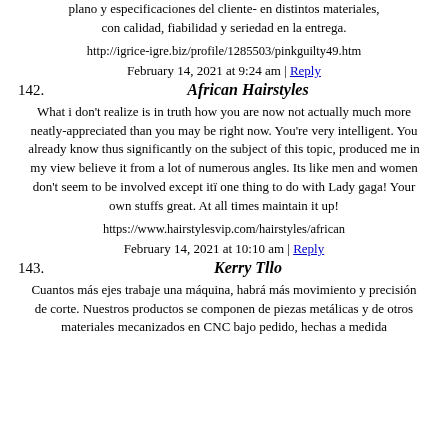plano y especificaciones del cliente- en distintos materiales, con calidad, fiabilidad y seriedad en la entrega.
http://igrice-igre.biz/profile/1285503/pinkguilty49.htm
February 14, 2021 at 9:24 am | Reply
142. African Hairstyles
What i don't realize is in truth how you are now not actually much more neatly-appreciated than you may be right now. You're very intelligent. You already know thus significantly on the subject of this topic, produced me in my view believe it from a lot of numerous angles. Its like men and women don't seem to be involved except itï one thing to do with Lady gaga! Your own stuffs great. At all times maintain it up!
https://www.hairstylesvip.com/hairstyles/african
February 14, 2021 at 10:10 am | Reply
143. Kerry Tllo
Cuantos más ejes trabaje una máquina, habrá más movimiento y precisión de corte. Nuestros productos se componen de piezas metálicas y de otros materiales mecanizados en CNC bajo pedido, hechas a medida